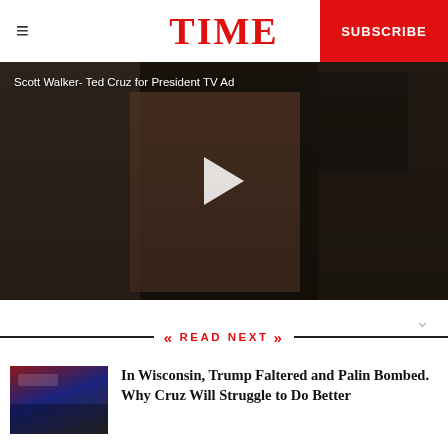TIME | SUBSCRIBE
[Figure (screenshot): Video thumbnail showing Scott Walker- Ted Cruz for President TV Ad, with people in an industrial setting and a play button overlay]
READ NEXT
[Figure (photo): Article thumbnail showing a political rally scene with American flag]
In Wisconsin, Trump Faltered and Palin Bombed. Why Cruz Will Struggle to Do Better